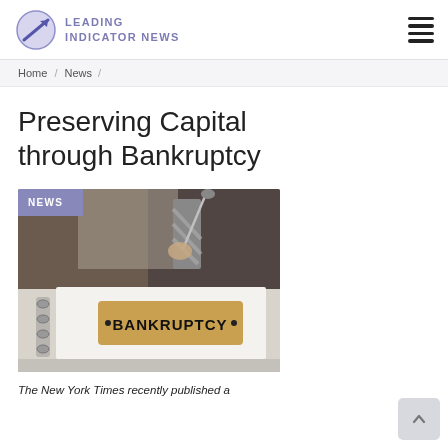LEADING INDICATOR NEWS
Home / News /
Preserving Capital through Bankruptcy
[Figure (photo): A binder labeled BANKRUPTCY on a desk with a person in a suit in the background, with a NEWS badge overlay in the top-left corner.]
The New York Times recently published a